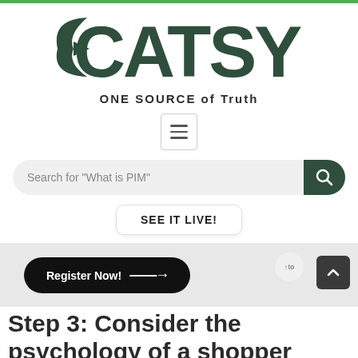[Figure (logo): Catsy logo with arrow swoosh and tagline ONE SOURCE of Truth]
[Figure (screenshot): Hamburger menu icon button]
[Figure (screenshot): Search bar with placeholder text Search for What is PIM and green search button]
SEE IT LIVE!
[Figure (screenshot): Banner with Register Now button with arrow and decorative element]
Step 3: Consider the psychology of a shopper
POPULAR POSTS